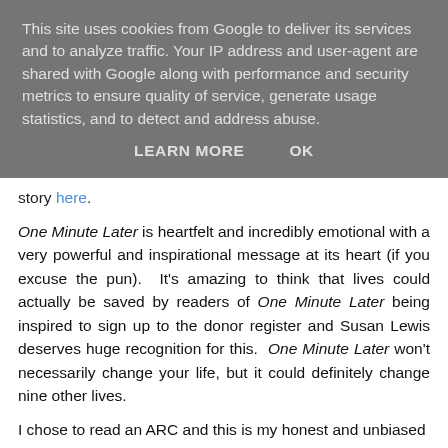This site uses cookies from Google to deliver its services and to analyze traffic. Your IP address and user-agent are shared with Google along with performance and security metrics to ensure quality of service, generate usage statistics, and to detect and address abuse.
LEARN MORE   OK
story here.
One Minute Later is heartfelt and incredibly emotional with a very powerful and inspirational message at its heart (if you excuse the pun).  It's amazing to think that lives could actually be saved by readers of One Minute Later being inspired to sign up to the donor register and Susan Lewis deserves huge recognition for this.  One Minute Later won't necessarily change your life, but it could definitely change nine other lives.
I chose to read an ARC and this is my honest and unbiased opinion.